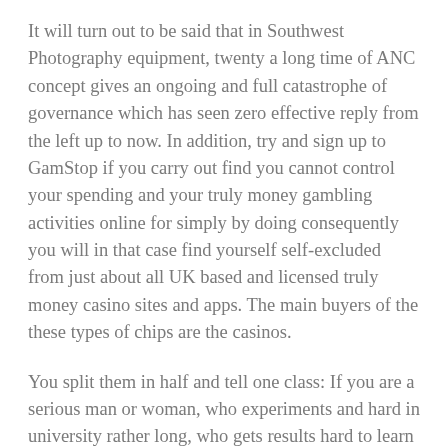It will turn out to be said that in Southwest Photography equipment, twenty a long time of ANC concept gives an ongoing and full catastrophe of governance which has seen zero effective reply from the left up to now. In addition, try and sign up to GamStop if you carry out find you cannot control your spending and your truly money gambling activities online for simply by doing consequently you will in that case find yourself self-excluded from just about all UK based and licensed truly money casino sites and apps. The main buyers of the these types of chips are the casinos.
You split them in half and tell one class: If you are a serious man or woman, who experiments and hard in university rather long, who gets results hard to learn a expertise or maybe buy and sell or maybe something to can that useful to your associates man, if you are earnest, honest, sober, virtuous, and